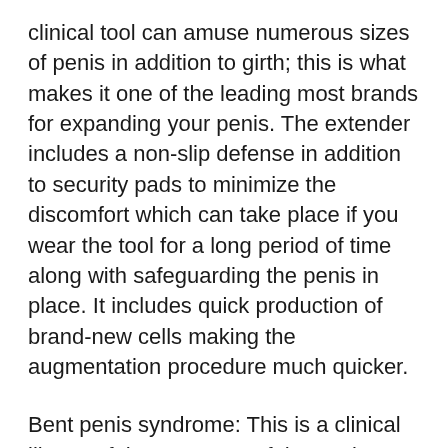clinical tool can amuse numerous sizes of penis in addition to girth; this is what makes it one of the leading most brands for expanding your penis. The extender includes a non-slip defense in addition to security pads to minimize the discomfort which can take place if you wear the tool for a long period of time along with safeguarding the penis in place. It includes quick production of brand-new cells making the augmentation procedure much quicker.
Bent penis syndrome: This is a clinical illness of the curvature of the penis which can create several levels of pain affecting an individual's self-confidence on a whole. The Bent Penis syndrome or likewise referred to as Peyronies can definitely be enhanced by